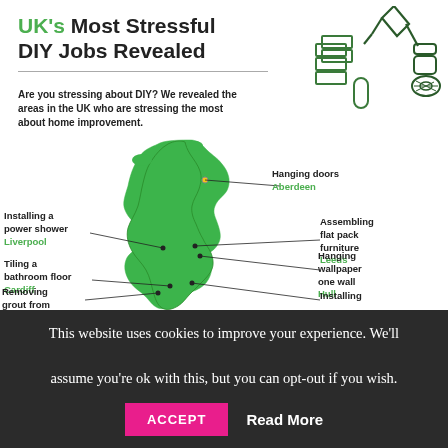UK's Most Stressful DIY Jobs Revealed
Are you stressing about DIY? We revealed the areas in the UK who are stressing the most about home improvement.
[Figure (infographic): Green silhouette map of the UK with labeled DIY problems by city: Hanging doors (Aberdeen), Installing a power shower (Liverpool), Assembling flat pack furniture (Leeds), Tiling a bathroom floor (Cardiff), Hanging wallpaper one wall (Hull), Removing grout from [tiles] (partially visible), Installing [partially visible]. DIY tool icons in top right (trowel, paint roller, bricks, pipe).]
This website uses cookies to improve your experience. We'll assume you're ok with this, but you can opt-out if you wish.
ACCEPT  Read More